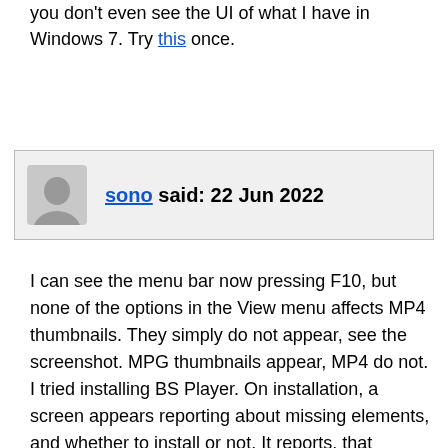you don't even see the UI of what I have in Windows 7. Try this once.
sono said: 22 Jun 2022
I can see the menu bar now pressing F10, but none of the options in the View menu affects MP4 thumbnails. They simply do not appear, see the screenshot. MPG thumbnails appear, MP4 do not. I tried installing BS Player. On installation, a screen appears reporting about missing elements, and whether to install or not. It reports, that FDDSHOW is missing as well. Isn't it the element Windows needs to show thumbnails? Anyway, the Media Player playes MP4s fine.